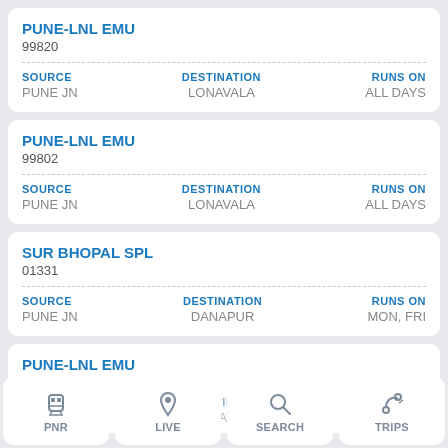PUNE-LNL EMU
99820
| SOURCE | DESTINATION | RUNS ON |
| --- | --- | --- |
| PUNE JN | LONAVALA | ALL DAYS |
PUNE-LNL EMU
99802
| SOURCE | DESTINATION | RUNS ON |
| --- | --- | --- |
| PUNE JN | LONAVALA | ALL DAYS |
SUR BHOPAL SPL
01331
| SOURCE | DESTINATION | RUNS ON |
| --- | --- | --- |
| PUNE JN | DANAPUR | MON, FRI |
PUNE-LNL EMU
PNR | LIVE | SEARCH | TRIPS